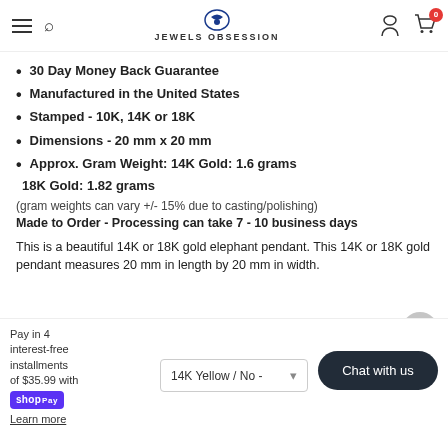Jewels Obsession — navigation header
30 Day Money Back Guarantee
Manufactured in the United States
Stamped - 10K, 14K or 18K
Dimensions - 20 mm x 20 mm
Approx. Gram Weight: 14K Gold: 1.6 grams 18K Gold: 1.82 grams
(gram weights can vary +/- 15% due to casting/polishing)
Made to Order - Processing can take 7 - 10 business days
This is a beautiful 14K or 18K gold elephant pendant. This 14K or 18K gold pendant measures 20 mm in length by 20 mm in width.
Pay in 4 interest-free installments of $35.99 with Shop Pay
Learn more
14K Yellow / No -
Chat with us